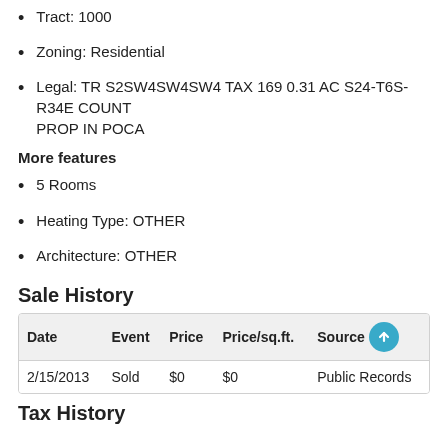Tract: 1000
Zoning: Residential
Legal: TR S2SW4SW4SW4 TAX 169 0.31 AC S24-T6S-R34E COUNT PROP IN POCA
More features
5 Rooms
Heating Type: OTHER
Architecture: OTHER
Sale History
| Date | Event | Price | Price/sq.ft. | Source |
| --- | --- | --- | --- | --- |
| 2/15/2013 | Sold | $0 | $0 | Public Records |
Tax History